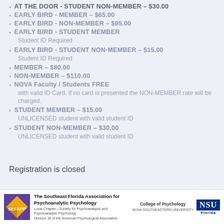AT THE DOOR - STUDENT NON-MEMBER – $30.00
EARLY BIRD - MEMBER – $65.00
EARLY BIRD - NON-MEMBER – $95.00
EARLY BIRD - STUDENT MEMBER
Student ID Required
EARLY BIRD - STUDENT NON-MEMBER – $15.00
Student ID Required
MEMBER – $80.00
NON-MEMBER – $110.00
NOVA Faculty / Students FREE
with valid ID Card. If no card is presented the NON-MEMBER rate will be charged.
STUDENT MEMBER – $15.00
UNLICENSED student with valid student ID
STUDENT NON-MEMBER – $30.00
UNLICENSED student with valid student ID
Registration is closed
The Southeast Florida Association for Psychoanalytic Psychology | Local Chapter—Society for Psychoanalysis and Psychoanalytic Psychology | Division 39 of the American Psychological Association | College of Psychology NOVA SOUTHEASTERN UNIVERSITY